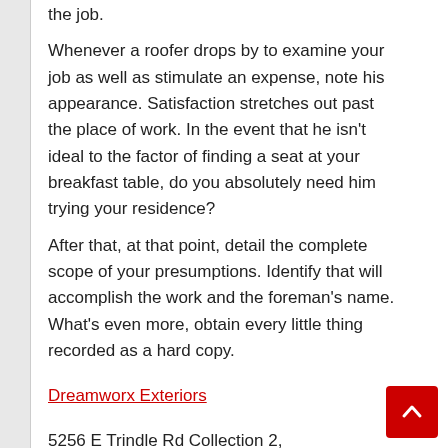the job.
Whenever a roofer drops by to examine your job as well as stimulate an expense, note his appearance. Satisfaction stretches out past the place of work. In the event that he isn't ideal to the factor of finding a seat at your breakfast table, do you absolutely need him trying your residence?
After that, at that point, detail the complete scope of your presumptions. Identify that will accomplish the work and the foreman's name. What's even more, obtain every little thing recorded as a hard copy.
Dreamworx Exteriors
5256 E Trindle Rd Collection 2, Mechanicsburg,